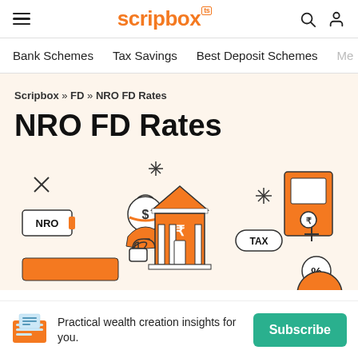scripbox
Bank Schemes  Tax Savings  Best Deposit Schemes  Me
Scripbox » FD » NRO FD Rates
NRO FD Rates
[Figure (illustration): Illustration showing NRO FD concept with icons: NRO label card, hand holding money bag with dollar sign, bank building with rupee symbol, ATM machine, TAX pill shape, percentage circle, sparkle/star icons, lock icon and plus sign]
Practical wealth creation insights for you.
Subscribe